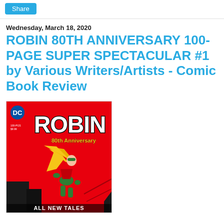Share
Wednesday, March 18, 2020
ROBIN 80TH ANNIVERSARY 100-PAGE SUPER SPECTACULAR #1 by Various Writers/Artists - Comic Book Review
[Figure (illustration): Comic book cover: Robin 80th Anniversary 100-Page Super Spectacular #1. Red background with Robin in classic green and red costume flying/leaping. DC logo top-left. Large 'ROBIN' text in white with black outline. '80th Anniversary' text. 'ALL NEW TALES' text at bottom.]